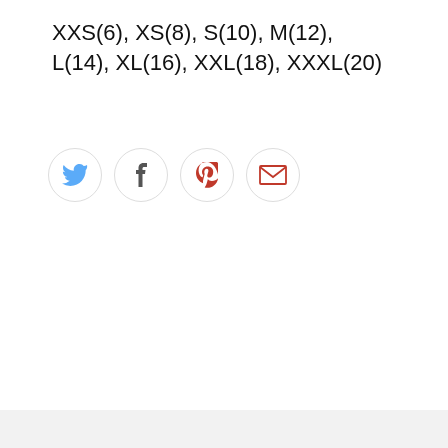XXS(6), XS(8), S(10), M(12), L(14), XL(16), XXL(18), XXXL(20)
[Figure (infographic): Four social share icon buttons in circles: Twitter (blue bird), Facebook (gray f), Pinterest (red P), Email (red envelope)]
[Figure (infographic): Five empty star rating icons in a row, and a filter/settings button icon on the right]
Write a review
Be the first to write a review